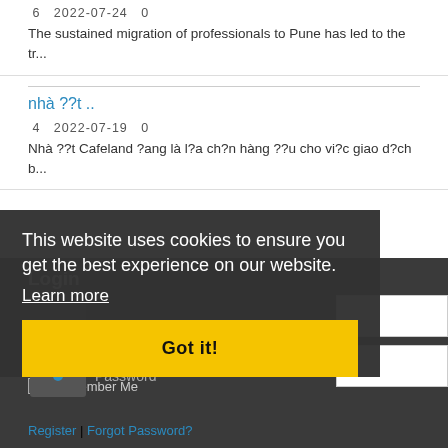6   2022-07-24   0
The sustained migration of professionals to Pune has led to the tr...
nhà ??t ..
4   2022-07-19   0
Nhà ??t Cafeland ?ang là l?a ch?n hàng ??u cho vi?c giao d?ch b...
Login
This website uses cookies to ensure you get the best experience on our website.
Learn more
Password
Remember Me
Got it!
Register | Forgot Password?